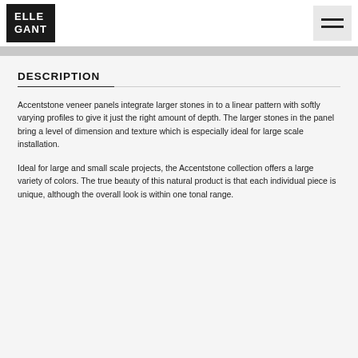ELLE GANT
DESCRIPTION
Accentstone veneer panels integrate larger stones in to a linear pattern with softly varying profiles to give it just the right amount of depth. The larger stones in the panel bring a level of dimension and texture which is especially ideal for large scale installation.
Ideal for large and small scale projects, the Accentstone collection offers a large variety of colors. The true beauty of this natural product is that each individual piece is unique, although the overall look is within one tonal range.